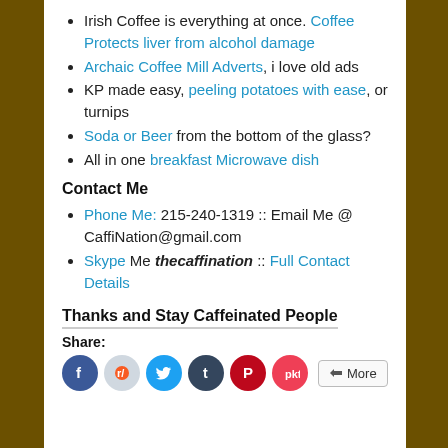Irish Coffee is everything at once. Coffee Protects liver from alcohol damage
Archaic Coffee Mill Adverts, i love old ads
KP made easy, peeling potatoes with ease, or turnips
Soda or Beer from the bottom of the glass?
All in one breakfast Microwave dish
Contact Me
Phone Me: 215-240-1319 :: Email Me @ CaffiNation@gmail.com
Skype Me thecaffination :: Full Contact Details
Thanks and Stay Caffeinated People
Share:
[Figure (other): Social sharing icons: Facebook, Reddit, Twitter, Tumblr, Pinterest, Pocket, and a More button]